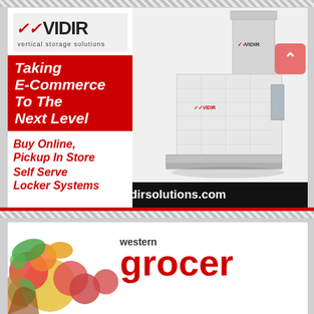[Figure (illustration): Vidir vertical storage solutions advertisement featuring logo, red banner with 'Taking E-Commerce To The Next Level', text 'Buy Online, Pickup In Store' and 'Self Serve Locker Systems', a locker machine image, and URL www.vidirsolutions.com]
[Figure (logo): Western Grocer magazine logo with fruit imagery and 'western grocer' text in red]